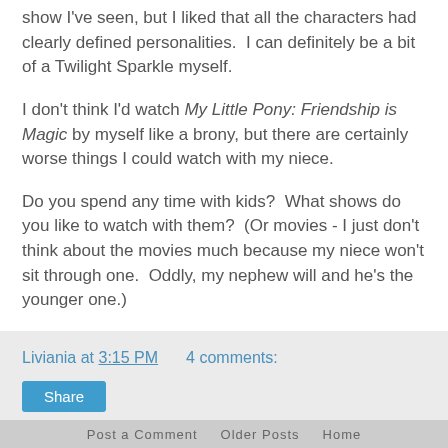show I've seen, but I liked that all the characters had clearly defined personalities.  I can definitely be a bit of a Twilight Sparkle myself.
I don't think I'd watch My Little Pony: Friendship is Magic by myself like a brony, but there are certainly worse things I could watch with my niece.
Do you spend any time with kids?  What shows do you like to watch with them?  (Or movies - I just don't think about the movies much because my niece won't sit through one.  Oddly, my nephew will and he's the younger one.)
Liviania at 3:15 PM    4 comments:
Share
December 16, 2012
Review: Into the Woods
Post a Comment   Older Posts   Home